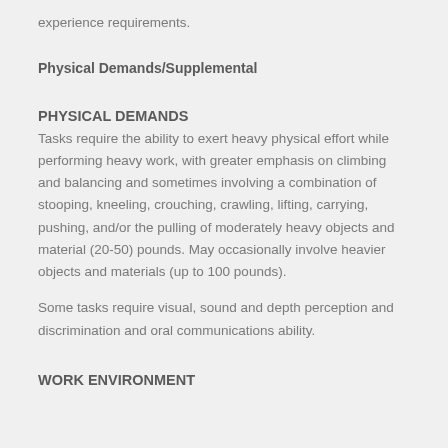experience requirements.
Physical Demands/Supplemental
PHYSICAL DEMANDS
Tasks require the ability to exert heavy physical effort while performing heavy work, with greater emphasis on climbing and balancing and sometimes involving a combination of stooping, kneeling, crouching, crawling, lifting, carrying, pushing, and/or the pulling of moderately heavy objects and material (20-50) pounds. May occasionally involve heavier objects and materials (up to 100 pounds).
Some tasks require visual, sound and depth perception and discrimination and oral communications ability.
WORK ENVIRONMENT